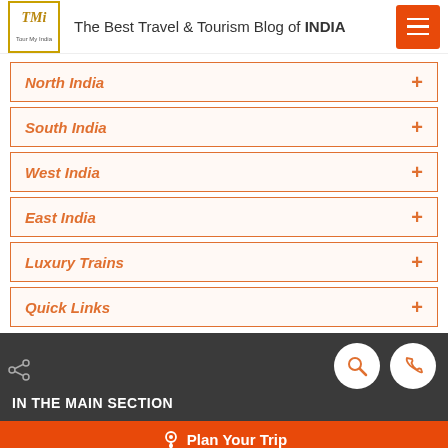The Best Travel & Tourism Blog of INDIA
North India +
South India +
West India +
East India +
Luxury Trains +
Quick Links +
IN THE MAIN SECTION
Plan Your Trip
India Tours
International Tours
Destination Wedding